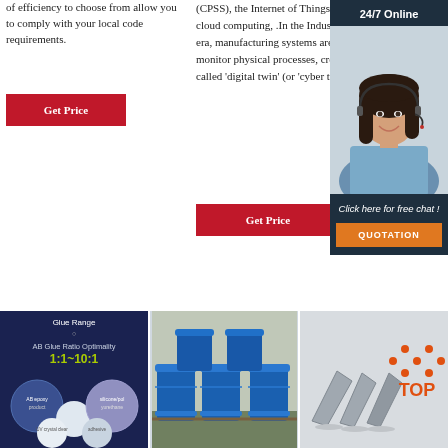of efficiency to choose from allow you to comply with your local code requirements.
Get Price
(CPSS), the Internet of Things (IoT), and cloud computing, .In the Industry 4.0 era, manufacturing systems are able to monitor physical processes, create a so-called 'digital twin' (or 'cyber twin ...
Get Price
[Figure (infographic): Dark blue sidebar with '24/7 Online' header, photo of a woman with headset smiling, text 'Click here for free chat !', and orange QUOTATION button]
[Figure (infographic): Dark blue background product image showing AB Glue Ratio Optimality 1:1-10:1 with circular product images]
[Figure (photo): Blue industrial drums/barrels stacked in a warehouse]
[Figure (photo): Gray metal parts/components next to a TOP logo with orange dots]